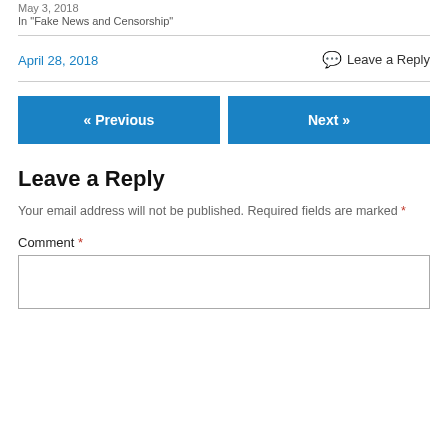May 3, 2018
In "Fake News and Censorship"
April 28, 2018
💬 Leave a Reply
« Previous
Next »
Leave a Reply
Your email address will not be published. Required fields are marked *
Comment *